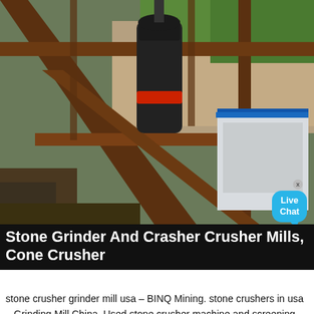[Figure (photo): Industrial stone crusher/grinder equipment mounted on a steel frame scaffold, with trees and rocky terrain in the background. A dark cylindrical crusher unit with a red band is visible in the center. A blue container/structure is on the right. A 'Live Chat' bubble overlay appears in the lower right.]
Stone Grinder And Crasher Crusher Mills, Cone Crusher
stone crusher grinder mill usa – BINQ Mining. stone crushers in usa – Grinding Mill China. Used stone crusher machine and screening plant for used stone crusher for sale. Gulin stone crushing
[Figure (photo): Industrial conveyor or mining equipment (yellow/gold colored arm/boom) against a rocky cliff face and blue sky background.]